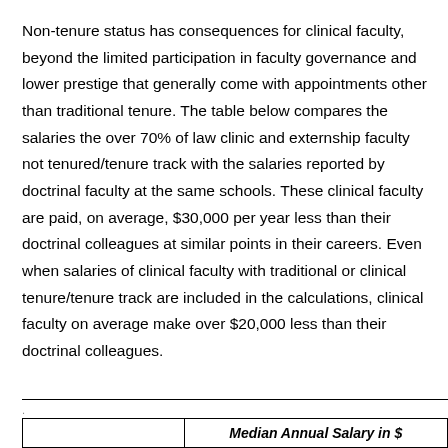Non-tenure status has consequences for clinical faculty, beyond the limited participation in faculty governance and lower prestige that generally come with appointments other than traditional tenure. The table below compares the salaries the over 70% of law clinic and externship faculty not tenured/tenure track with the salaries reported by doctrinal faculty at the same schools. These clinical faculty are paid, on average, $30,000 per year less than their doctrinal colleagues at similar points in their careers. Even when salaries of clinical faculty with traditional or clinical tenure/tenure track are included in the calculations, clinical faculty on average make over $20,000 less than their doctrinal colleagues.
|  | Median Annual Salary in $ |
| --- | --- |